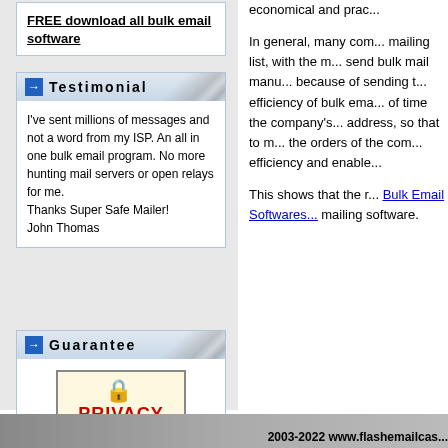FREE download all bulk email software
Testimonial
I've sent millions of messages and not a word from my ISP. An all in one bulk email program. No more hunting mail servers or open relays for me. Thanks Super Safe Mailer! John Thomas
Guarantee
[Figure (other): Privacy Guaranteed badge with padlock icon]
economical and prac...
In general, many com... mailing list, with the r... send bulk mail manu... because of sending t... efficiency of bulk ema... of time the company's... address, so that to m... the orders of the com... efficiency and enable...
This shows that the r... Bulk Email Softwares... mailing software.
2003-2022 www.flashemailcas...